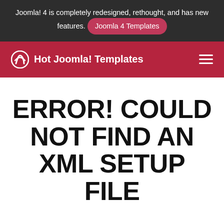Joomla! 4 is completely redesigned, rethought, and has new features. Joomla 4 Templates
Hot Joomla! Templates
ERROR! COULD NOT FIND AN XML SETUP FILE
Written by Milos Stankovic
Published: 09 December 2010
Last Updated: 30 June 2020